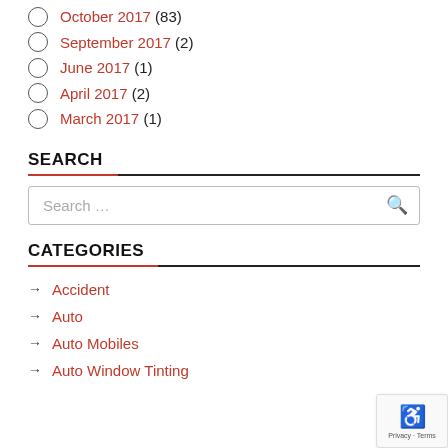October 2017 (83)
September 2017 (2)
June 2017 (1)
April 2017 (2)
March 2017 (1)
SEARCH
Search …
CATEGORIES
Accident
Auto
Auto Mobiles
Auto Window Tinting